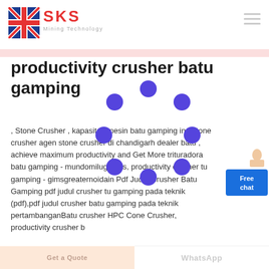[Figure (logo): SKS Mining Technology logo with UK flag icon and red stylized letters SKS]
productivity crusher batu gamping
, Stone Crusher , kapasitas mesin batu gamping in , stone crusher agen stone crusher di chandigarh dealer batu , achieve maximum productivity and Get More trituradora batu gamping - mundomilugomas, productivity crusher tu gamping - gimsgreaternoidain Pdf Judul Crusher Batu Gamping pdf judul crusher tu gamping pada teknik (pdf),pdf judul crusher batu gamping pada teknik pertambanganBatu crusher HPC Cone Crusher, productivity crusher b
[Figure (illustration): Loading spinner overlay — circular arrangement of blue dots indicating page loading]
[Figure (illustration): Free chat widget button with person illustration]
Get a Quote
WhatsApp